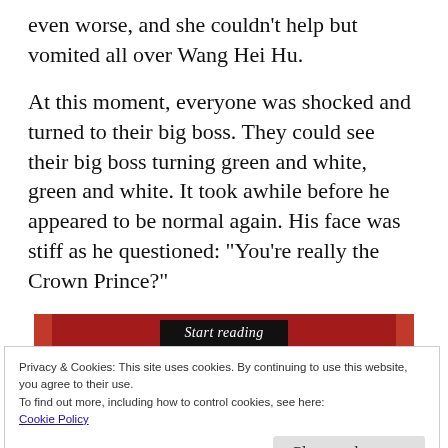even worse, and she couldn’t help but vomited all over Wang Hei Hu.
At this moment, everyone was shocked and turned to their big boss. They could see their big boss turning green and white, green and white. It took awhile before he appeared to be normal again. His face was stiff as he questioned: “You’re really the Crown Prince?”
[Figure (other): A red navigation bar with a 'Start reading' button in black in the center]
Privacy & Cookies: This site uses cookies. By continuing to use this website, you agree to their use.
To find out more, including how to control cookies, see here:
Cookie Policy
Close and accept